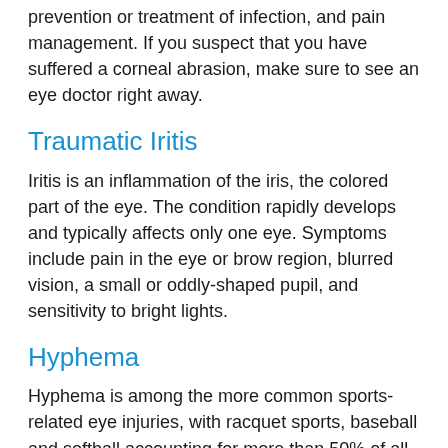prevention or treatment of infection, and pain management. If you suspect that you have suffered a corneal abrasion, make sure to see an eye doctor right away.
Traumatic Iritis
Iritis is an inflammation of the iris, the colored part of the eye. The condition rapidly develops and typically affects only one eye. Symptoms include pain in the eye or brow region, blurred vision, a small or oddly-shaped pupil, and sensitivity to bright lights.
Hyphema
Hyphema is among the more common sports-related eye injuries, with racquet sports, baseball and softball accounting for more than 50% of all hyphema injuries in athletics.